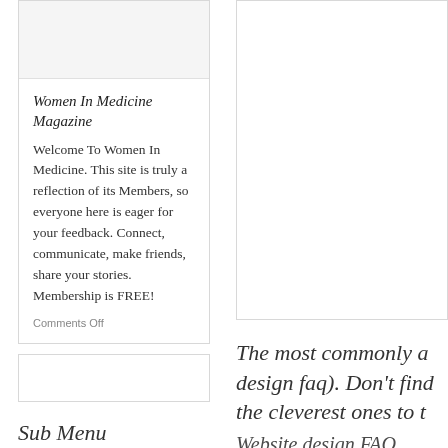[Figure (other): Image placeholder box at top of left card]
Women In Medicine Magazine
Welcome To Women In Medicine. This site is truly a reflection of its Members, so everyone here is eager for your feedback. Connect, communicate, make friends, share your stories. Membership is FREE!
Comments Off
[Figure (other): Empty card box below main card]
Sub Menu
[Figure (other): Large box on right side top area]
The most commonly a design faq). Don't find the cleverest ones to t
Website design FAQ
I'm interested in your ser
What guarantees do yo